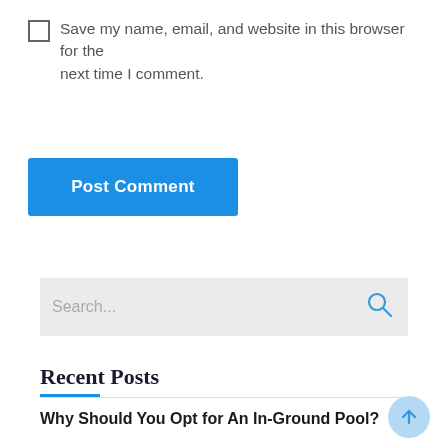Save my name, email, and website in this browser for the next time I comment.
Post Comment
[Figure (screenshot): Search box with placeholder text 'Search...' and a search icon on the right]
Recent Posts
Why Should You Opt for An In-Ground Pool?